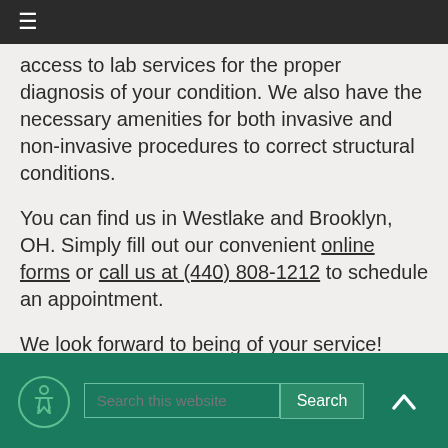≡
access to lab services for the proper diagnosis of your condition. We also have the necessary amenities for both invasive and non-invasive procedures to correct structural conditions.
You can find us in Westlake and Brooklyn, OH. Simply fill out our convenient online forms or call us at (440) 808-1212 to schedule an appointment.
We look forward to being of your service!
[Figure (other): Green footer bar with search box and Search button]